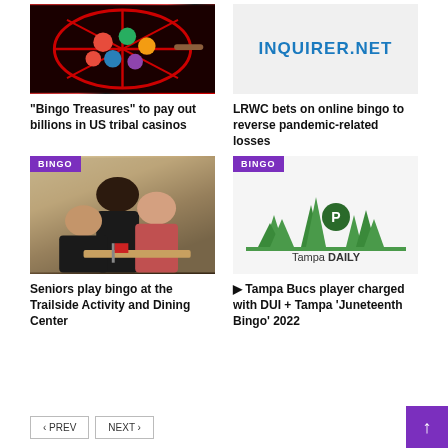[Figure (photo): Bingo cage with colorful balls]
[Figure (logo): INQUIRER.NET logo on light gray background]
“Bingo Treasures” to pay out billions in US tribal casinos
LRWC bets on online bingo to reverse pandemic-related losses
[Figure (photo): Seniors play bingo at the Trailside Activity and Dining Center, with BINGO tag overlay]
[Figure (logo): Tampa Daily logo with trees and parking icon, with BINGO tag overlay]
Seniors play bingo at the Trailside Activity and Dining Center
▶ Tampa Bucs player charged with DUI + Tampa ‘Juneteenth Bingo’ 2022
< PREV    NEXT >